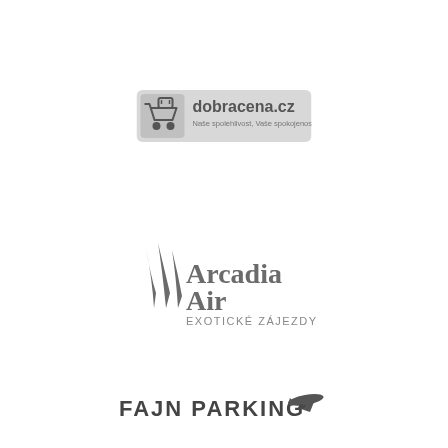[Figure (logo): dobracena.cz logo: shopping cart icon with text 'dobracena.cz' and subtitle 'Naše spolehlivost, Vaše spokojenost' on a light grey rounded rectangle background]
[Figure (logo): Arcadia Air logo: stylized grass/blade strokes icon in dark grey with text 'Arcadia Air' in large grey serif-style font and 'EXOTICKÉ ZÁJEZDY' in small caps below]
[Figure (logo): Fajn Parking logo: text 'FAJN PARKING' in bold dark grey with an airplane silhouette icon to the right]